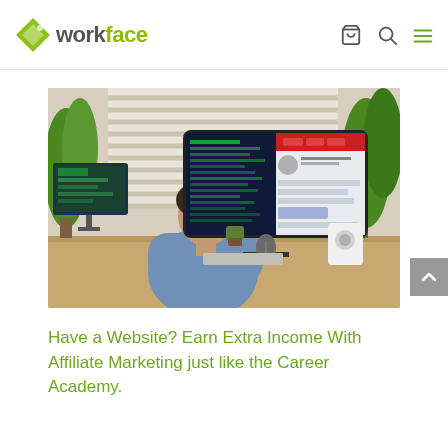workface
[Figure (photo): Person sitting at a desk from behind, working on a large ultrawide curved monitor showing code/website content, with a second monitor to the left, plants, speakers, and window blinds in the background]
Have a Website? Earn Extra Income With Affiliate Marketing just like the Career Academy.